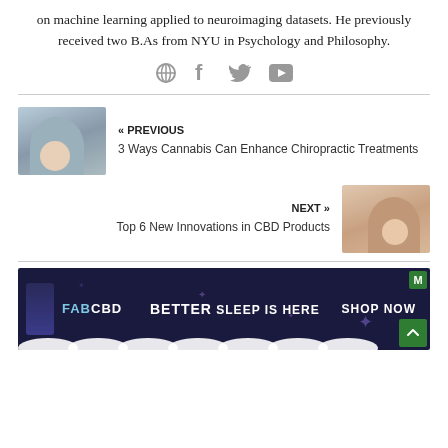on machine learning applied to neuroimaging datasets. He previously received two B.As from NYU in Psychology and Philosophy.
[Figure (other): Social media icons: globe, Facebook, Twitter, YouTube]
« PREVIOUS
3 Ways Cannabis Can Enhance Chiropractic Treatments
[Figure (photo): Previous article thumbnail showing a person in a teal shirt]
NEXT »
Top 6 New Innovations in CBD Products
[Figure (photo): Next article thumbnail showing a person seated]
[Figure (infographic): FABCBD advertisement banner: BETTER SLEEP IS HERE SHOP NOW]